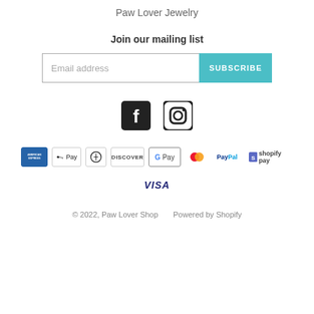Paw Lover Jewelry
Join our mailing list
[Figure (screenshot): Email subscription form with email address input field and teal SUBSCRIBE button]
[Figure (infographic): Social media icons: Facebook (f) and Instagram (camera)]
[Figure (infographic): Payment method logos: American Express, Apple Pay, Diners Club, Discover, Google Pay, Mastercard, PayPal, Shopify Pay, Visa]
© 2022, Paw Lover Shop      Powered by Shopify